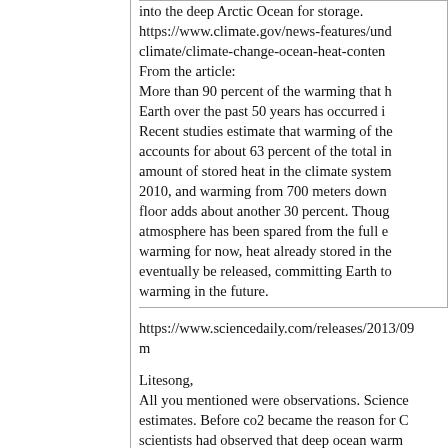into the deep Arctic Ocean for storage.
https://www.climate.gov/news-features/und
climate/climate-change-ocean-heat-conten
From the article:
More than 90 percent of the warming that h
Earth over the past 50 years has occurred i
Recent studies estimate that warming of th
accounts for about 63 percent of the total i
amount of stored heat in the climate syste
2010, and warming from 700 meters down
floor adds about another 30 percent. Thou
atmosphere has been spared from the full e
warming for now, heat already stored in the
eventually be released, committing Earth to
warming in the future.
https://www.sciencedaily.com/releases/2013/0
m
Litesong,
All you mentioned were observations. Science
estimates. Before co2 became the reason for C
scientists had observed that deep ocean warm
predicted climatic warming 10 years in advanc
I find it interesting that your post suggests that
warming when I posted that it's been happenin